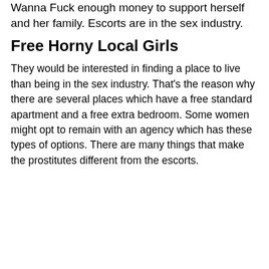Wanna Fuck enough money to support herself and her family. Escorts are in the sex industry.
Free Horny Local Girls
They would be interested in finding a place to live than being in the sex industry. That's the reason why there are several places which have a free standard apartment and a free extra bedroom. Some women might opt to remain with an agency which has these types of options. There are many things that make the prostitutes different from the escorts.